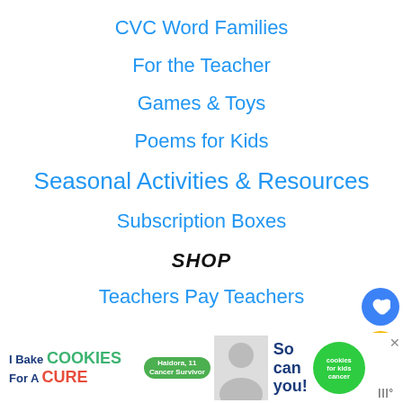CVC Word Families
For the Teacher
Games & Toys
Poems for Kids
Seasonal Activities & Resources
Subscription Boxes
SHOP
Teachers Pay Teachers
[Figure (infographic): Advertisement banner: 'I Bake COOKIES For A CURE' with a child photo, cookies for kids cancer logo, and 'So can you!' text. Close button visible.]